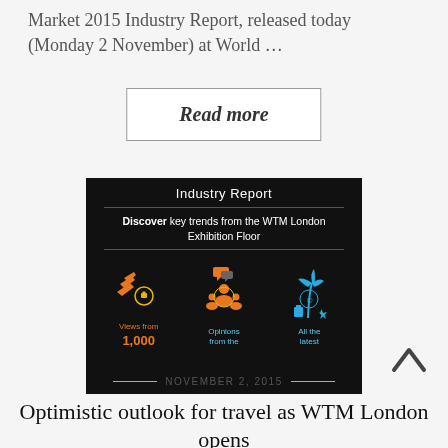Market 2015 Industry Report, released today (Monday 2 November) at World …
Read more
[Figure (infographic): Industry Report infographic on black background. Title: 'Industry Report'. Subheading: 'Discover key trends from the WTM London Exhibition Floor'. Three icon columns: orange airplane icons with 'Views from 1,000', orange people/chat icons with 'Opinions from the', blue palm tree/beach icons with 'All the latest'.]
NOVEMBER 2, 2015
Optimistic outlook for travel as WTM London opens